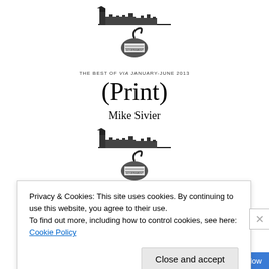[Figure (illustration): Logo illustration: Westminster/Parliament skyline silhouette with a bomb/box labeled 'GOVERNMENT' below it, wrapped with a ribbon or fuse]
THE BEST OF VIA JANUARY-JUNE 2013
(Print)
Mike Sivier
[Figure (illustration): Same logo illustration repeated: Westminster/Parliament skyline silhouette with a bomb/box labeled 'GOVERNMENT' below it]
THE BEST OF VIA JANUARY-JUNE 2013
(eBook)
Privacy & Cookies: This site uses cookies. By continuing to use this website, you agree to their use.
To find out more, including how to control cookies, see here: Cookie Policy
Close and accept
Follow